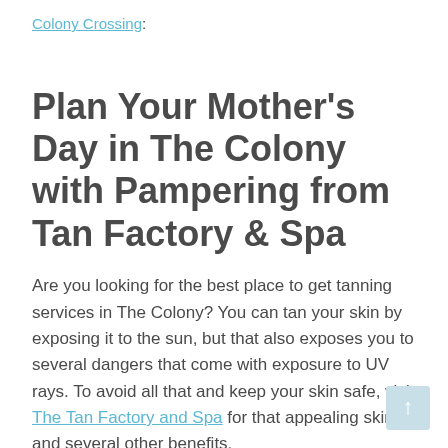Colony Crossing:
Plan Your Mother's Day in The Colony with Pampering from Tan Factory & Spa
Are you looking for the best place to get tanning services in The Colony? You can tan your skin by exposing it to the sun, but that also exposes you to several dangers that come with exposure to UV rays. To avoid all that and keep your skin safe, visit The Tan Factory and Spa for that appealing skin and several other benefits.
Feel the Benefits of Indoor Tanning in Readiness for